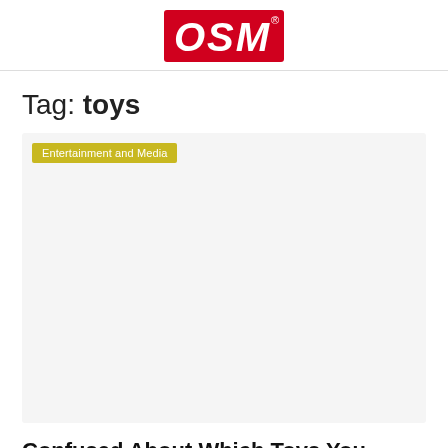[Figure (logo): OSM logo — white italic bold letters O, S, M on a red rectangle background with registered trademark symbol]
Tag: toys
Entertainment and Media
Confused About Which Toys You Should Buy? This Advice Will...